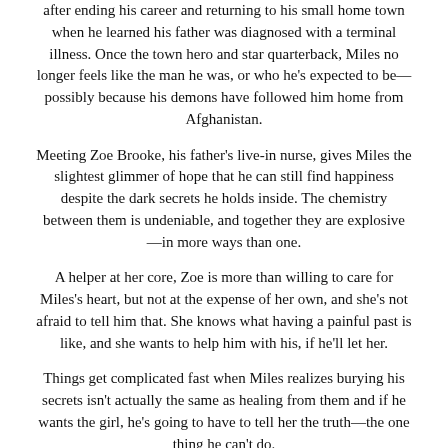after ending his career and returning to his small home town when he learned his father was diagnosed with a terminal illness. Once the town hero and star quarterback, Miles no longer feels like the man he was, or who he's expected to be—possibly because his demons have followed him home from Afghanistan.
Meeting Zoe Brooke, his father's live-in nurse, gives Miles the slightest glimmer of hope that he can still find happiness despite the dark secrets he holds inside. The chemistry between them is undeniable, and together they are explosive—in more ways than one.
A helper at her core, Zoe is more than willing to care for Miles's heart, but not at the expense of her own, and she's not afraid to tell him that. She knows what having a painful past is like, and she wants to help him with his, if he'll let her.
Things get complicated fast when Miles realizes burying his secrets isn't actually the same as healing from them and if he wants the girl, he's going to have to tell her the truth—the one thing he can't do.
This book is suggested for 18+ years of age, contains graphic